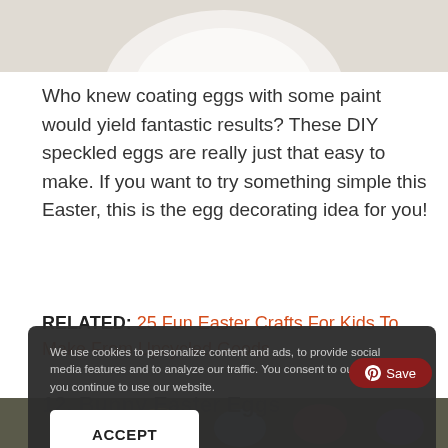[Figure (photo): Top portion of a photo showing a white speckled egg on a light surface, partially cropped at top of page.]
Who knew coating eggs with some paint would yield fantastic results? These DIY speckled eggs are really just that easy to make. If you want to try something simple this Easter, this is the egg decorating idea for you!
RELATED: 25 Fun Easter Crafts For Kids To Make From Upcycled Goods
12. Bunny Easter Eggs
We use cookies to personalize content and ads, to provide social media features and to analyze our traffic. You consent to our cookies if you continue to use our website.
ACCEPT
[Figure (photo): Bottom portion of page showing colorful Easter eggs in the lower strip, partially obscured by cookie banner.]